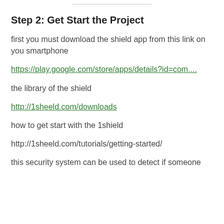Step 2: Get Start the Project
first you must download the shield app from this link on you smartphone
https://play.google.com/store/apps/details?id=com....
the library of the shield
http://1sheeld.com/downloads
how to get start with the 1shield
http://1sheeld.com/tutorials/getting-started/
this security system can be used to detect if someone